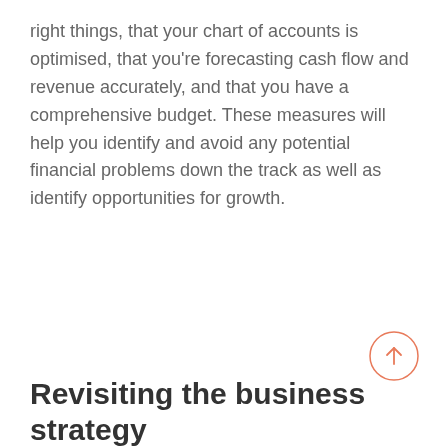right things, that your chart of accounts is optimised, that you're forecasting cash flow and revenue accurately, and that you have a comprehensive budget. These measures will help you identify and avoid any potential financial problems down the track as well as identify opportunities for growth.
[Figure (other): Circular back-to-top button with an upward arrow icon, outlined in coral/orange color]
Revisiting the business strategy